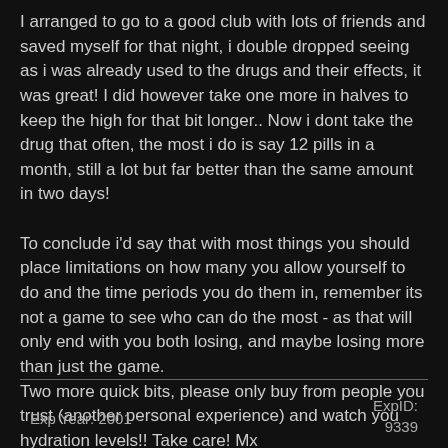I arranged to go to a good club with lots of friends and saved myself for that night, i double dropped seeing as i was already used to the drugs and their effects, it was great! I did however take one more in halves to keep the high for that bit longer.. Now i dont take the drug that often, the most i do is say 12 pills in a month, still a lot but far better than the same amount in two days!

To conclude i'd say that with most things you should place limitations on how many you allow yourself to do and the time periods you do them in, remember its not a game to see who can do the most - as that will only end with you both losing, and maybe losing more than just the game.
Two more quick bits, please only buy from people you trust (another personal experience) and watch you hydration levels!! Take care! Mx
Exp Year: 2001    ExpID: 9339